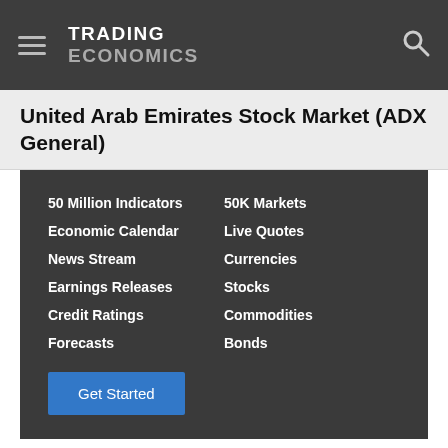TRADING ECONOMICS
United Arab Emirates Stock Market (ADX General)
50 Million Indicators | Economic Calendar | News Stream | Earnings Releases | Credit Ratings | Forecasts | 50K Markets | Live Quotes | Currencies | Stocks | Commodities | Bonds
Get Started
We Are Hiring
Trading Economics welcomes candidates from